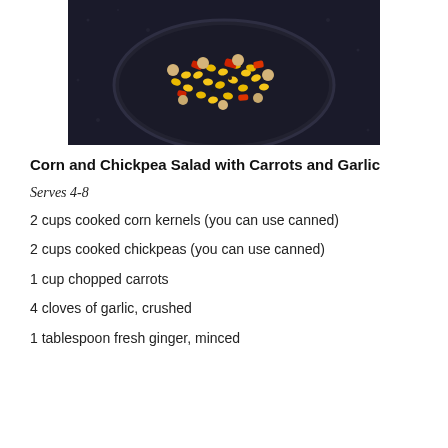[Figure (photo): A dark bowl containing corn kernels and chickpeas with red peppers, photographed from above on a dark stone surface]
Corn and Chickpea Salad with Carrots and Garlic
Serves 4-8
2 cups cooked corn kernels (you can use canned)
2 cups cooked chickpeas (you can use canned)
1 cup chopped carrots
4 cloves of garlic, crushed
1 tablespoon fresh ginger, minced